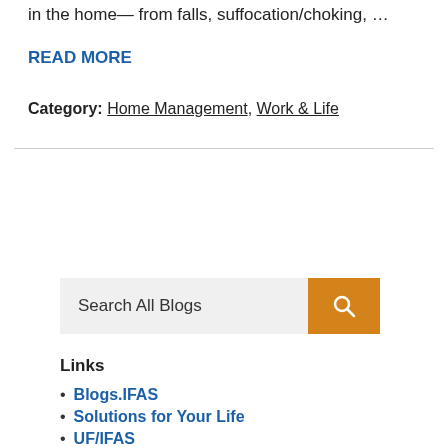in the home— from falls, suffocation/choking, …
READ MORE
Category: Home Management, Work & Life
[Figure (other): Horizontal divider line]
[Figure (other): Search bar with orange search button labeled 'Search All Blogs']
Links
Blogs.IFAS
Solutions for Your Life
UF/IFAS
Search By Date